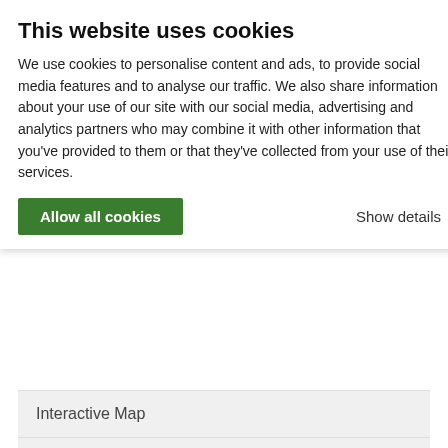This website uses cookies
We use cookies to personalise content and ads, to provide social media features and to analyse our traffic. We also share information about your use of our site with our social media, advertising and analytics partners who may combine it with other information that you've provided to them or that they've collected from your use of their services.
Allow all cookies
Show details
Interactive Map
Mountains & Rocks in Oregon
Children
1 Routes
High Lake Rim
Parents
Blue Mountains (OR)
Mountains & Rocks